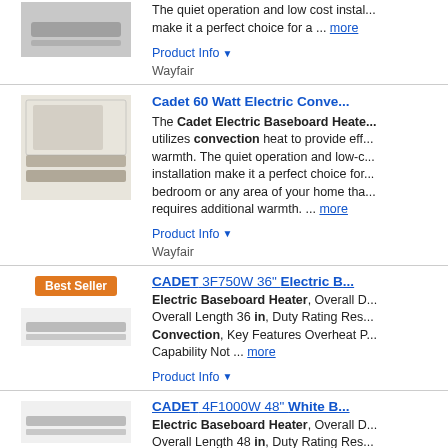[Figure (photo): Baseboard heater product photo (top, partially visible)]
The quiet operation and low cost installation make it a perfect choice for a ... more
Product Info ▼
Wayfair
Cadet 60 Watt Electric Conve...
[Figure (photo): Cadet electric baseboard heater in a room setting]
The Cadet Electric Baseboard Heater utilizes convection heat to provide efficient warmth. The quiet operation and low-cost installation make it a perfect choice for a bedroom or any area of your home that requires additional warmth. ... more
Product Info ▼
Wayfair
CADET 3F750W 36" Electric B...
Best Seller
[Figure (photo): CADET 3F750W 36 inch electric baseboard heater product photo]
Electric Baseboard Heater, Overall D... Overall Length 36 in, Duty Rating Residential, Convection, Key Features Overheat Protection, Capability Not ... more
Product Info ▼
CADET 4F1000W 48" White B...
[Figure (photo): CADET 4F1000W 48 inch white baseboard heater product photo]
Electric Baseboard Heater, Overall D... Overall Length 48 in, Duty Rating Residential, Convection, Key Features Overheat Protection, Capability Not ... more